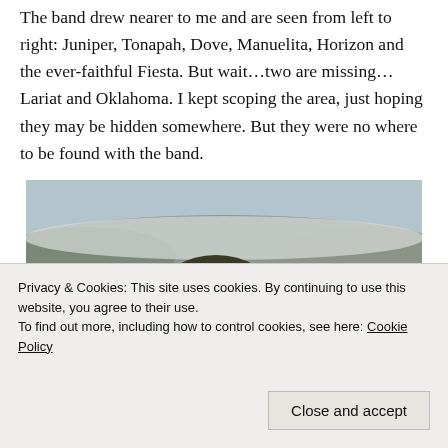The band drew nearer to me and are seen from left to right: Juniper, Tonapah, Dove, Manuelita, Horizon and the ever-faithful Fiesta. But wait…two are missing…Lariat and Oklahoma. I kept scoping the area, just hoping they may be hidden somewhere. But they were no where to be found with the band.
[Figure (photo): A snowy high-desert landscape with sagebrush and juniper trees partially covered in snow. The terrain shows reddish-brown earth and rocks beneath the snow cover.]
Privacy & Cookies: This site uses cookies. By continuing to use this website, you agree to their use.
To find out more, including how to control cookies, see here: Cookie Policy